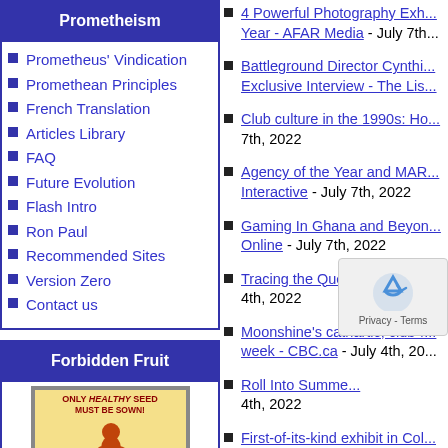Prometheism
Prometheus' Vindication
Promethean Principles
French Translation
Articles Library
FAQ
Future Evolution
Flash Intro
Ron Paul
Recommended Sites
Version Zero
Contact us
Forbidden Fruit
[Figure (illustration): Vintage propaganda-style poster showing a man sowing seeds with text 'ONLY HEALTHY SEED MUST BE SOWN!']
4 Powerful Photography Exhibitions to See This Year - AFAR Media - July 7th
Battleground Director Cynthia... Exclusive Interview - The Lis...
Club culture in the 1990s: Ho... 7th, 2022
Agency of the Year and MAR... Interactive - July 7th, 2022
Gaming In Ghana and Beyon... Online - July 7th, 2022
Tracing the Queer Roots of D... 4th, 2022
Moonshine's cathartic, club-r... week - CBC.ca - July 4th, 20...
Roll Into Summe... 4th, 2022
First-of-its-kind exhibit in Col...